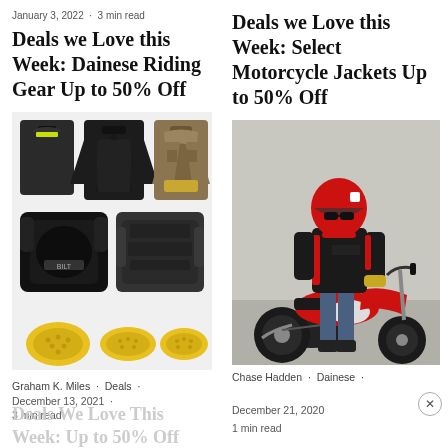January 3, 2022 · 3 min read
Deals we Love this Week: Dainese Riding Gear Up to 50% Off
[Figure (photo): Collage of motorcycle riding gear including jackets, chest protectors, and yellow knee/shoulder pads]
Graham K. Miles · Deals ·
December 13, 2021 ·
3 min read
Deals We Love This Week: Up to 50% Off
Deals we Love this Week: Select Motorcycle Jackets Up to 50% Off
[Figure (photo): Man in red and black motorcycle jacket and red helmet standing next to a red and white Ducati motorcycle]
Chase Hadden · Dainese ·
December 21, 2020
1 min read